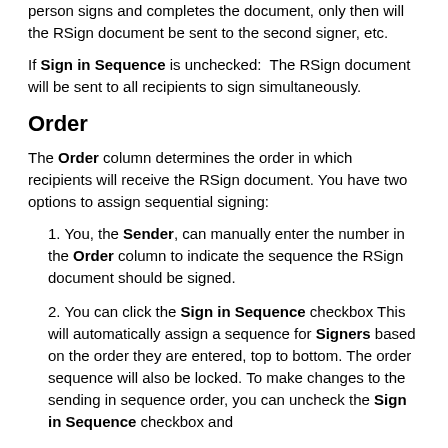person signs and completes the document, only then will the RSign document be sent to the second signer, etc.
If Sign in Sequence is unchecked:  The RSign document will be sent to all recipients to sign simultaneously.
Order
The Order column determines the order in which recipients will receive the RSign document. You have two options to assign sequential signing:
1. You, the Sender, can manually enter the number in the Order column to indicate the sequence the RSign document should be signed.
2. You can click the Sign in Sequence checkbox This will automatically assign a sequence for Signers based on the order they are entered, top to bottom. The order sequence will also be locked. To make changes to the sending in sequence order, you can uncheck the Sign in Sequence checkbox and